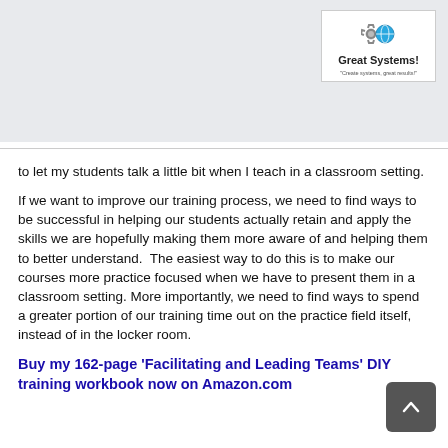[Figure (logo): Great Systems! logo with gear and globe icons, tagline 'Create systems, great results!']
SOLUTIONS  COACHING  EVENTS  RESOURCES  SHOP
to let my students talk a little bit when I teach in a classroom setting.
If we want to improve our training process, we need to find ways to be successful in helping our students actually retain and apply the skills we are hopefully making them more aware of and helping them to better understand.  The easiest way to do this is to make our courses more practice focused when we have to present them in a classroom setting. More importantly, we need to find ways to spend a greater portion of our training time out on the practice field itself, instead of in the locker room.
Buy my 162-page 'Facilitating and Leading Teams' DIY training workbook now on Amazon.com